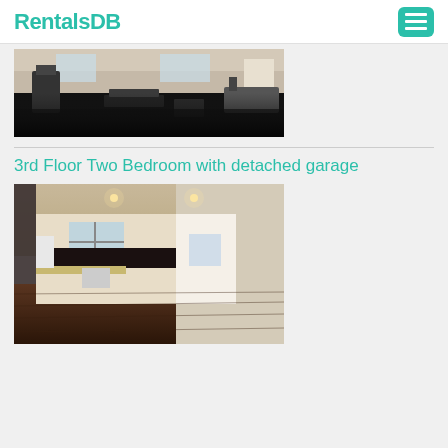RentalsDB
[Figure (photo): Interior gym/fitness center with exercise equipment on dark floor, light-colored walls and ceiling]
3rd Floor Two Bedroom with detached garage
[Figure (photo): Interior of apartment showing open living/kitchen area with dark cabinets, wood floors, and windows]